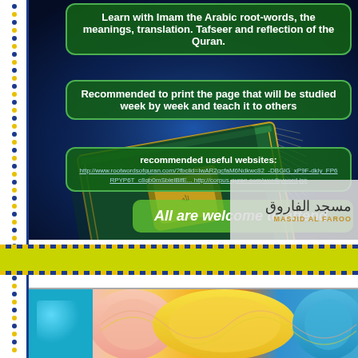[Figure (photo): Decorated Quran book on dark blue background with gold ornamental detail, overlaid with green rounded text boxes]
Learn with Imam the Arabic root-words, the meanings, translation. Tafseer and reflection of the Quran.
Recommended to print the page that will be studied week by week and teach it to others
recommended useful websites:
http://www.rootwordsofquran.com/?fbclid=IwAR2gcfaM6Ndkwc82_-DBGlG_xP9F-dkly_FP6RPYP6T_c8qb0mSbielBifE... http://corpus.quran.com/wordbyword.jsp
All are welcome to attend.
[Figure (logo): Masjid Al Faroq logo with Arabic text مسجد الفاروق and English MASJID AL FAROQ]
[Figure (photo): Yellow-green banner strip with blue and yellow dotted border lines]
[Figure (photo): Colorful craft/yarn balls image showing blue, pink, yellow, orange, and teal yarns]